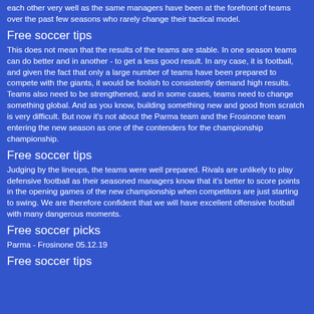each other very well as the same managers have been at the forefront of teams over the past few seasons who rarely change their tactical model.
Free soccer tips
This does not mean that the results of the teams are stable. In one season teams can do better and in another - to get a less good result. In any case, it is football, and given the fact that only a large number of teams have been prepared to compete with the giants, it would be foolish to consistently demand high results. Teams also need to be strengthened, and in some cases, teams need to change something global. And as you know, building something new and good from scratch is very difficult. But now it's not about the Parma team and the Frosinone team entering the new season as one of the contenders for the championship championship.
Free soccer tips
Judging by the lineups, the teams were well prepared. Rivals are unlikely to play defensive football as their seasoned managers know that it's better to score points in the opening games of the new championship when competitors are just starting to swing. We are therefore confident that we will have excellent offensive football with many dangerous moments.
Free soccer picks
Parma - Frosinone 05.12.19
Free soccer tips